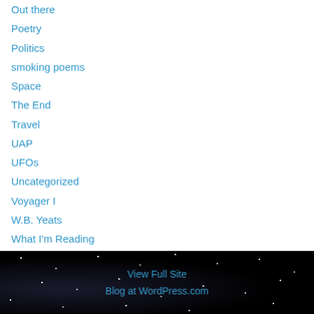Out there
Poetry
Politics
smoking poems
Space
The End
Travel
UAP
UFOs
Uncategorized
Voyager I
W.B. Yeats
What I'm Reading
What I'm Writing
Writing
View Full Site
Blog at WordPress.com